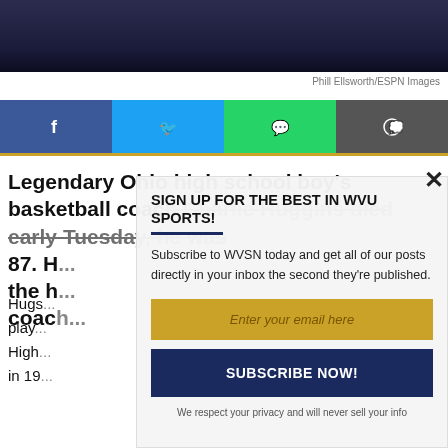[Figure (photo): Dark background photo of a person, cropped at top of page]
Phill Ellsworth/ESPN Images
[Figure (infographic): Social share buttons: Facebook, Twitter, WhatsApp, Comments]
Legendary Ohio high school boy's basketball coach Charlie Huggins died early Tuesday, he was 87. He...the h...coach...
Hugs... play... High... in 19...
[Figure (screenshot): Email signup modal overlay: SIGN UP FOR THE BEST IN WVU SPORTS! Subscribe to WVSN today and get all of our posts directly in your inbox the second they're published. Enter your email here. SUBSCRIBE NOW! We respect your privacy and will never sell your info]